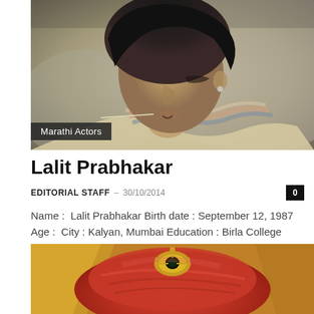[Figure (photo): Profile photo of Lalit Prabhakar, a young Indian man with dark hair, viewed from the side/slightly front angle, wearing a scarf or shawl around neck. Background is blurred outdoor setting.]
Marathi Actors
Lalit Prabhakar
EDITORIAL STAFF – 30/10/2014
Name :  Lalit Prabhakar Birth date : September 12, 1987 Age :  City : Kalyan, Mumbai Education : Birla College About : Lalit Prabhakar, famous as Aaditya Desai from the zee...
[Figure (photo): Close-up photo of a red turban (pagdi) with an ornate gold and dark green brooch/jewel decoration at the front. Colorful traditional costume visible in background.]